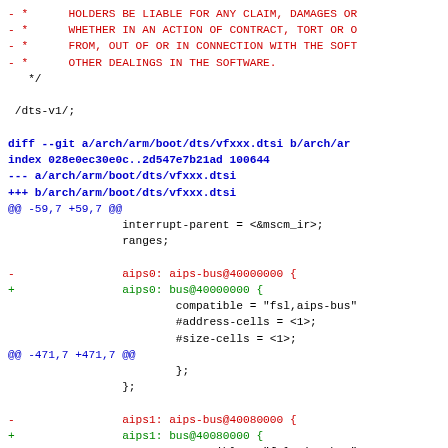- *      HOLDERS BE LIABLE FOR ANY CLAIM, DAMAGES OR
- *      WHETHER IN AN ACTION OF CONTRACT, TORT OR O
- *      FROM, OUT OF OR IN CONNECTION WITH THE SOFT
- *      OTHER DEALINGS IN THE SOFTWARE.
   */

 /dts-v1/;

diff --git a/arch/arm/boot/dts/vfxxx.dtsi b/arch/ar
index 028e0ec30e0c..2d547e7b21ad 100644
--- a/arch/arm/boot/dts/vfxxx.dtsi
+++ b/arch/arm/boot/dts/vfxxx.dtsi
@@ -59,7 +59,7 @@
                 interrupt-parent = <&mscm_ir>;
                 ranges;

-                aips0: aips-bus@40000000 {
+                aips0: bus@40000000 {
                         compatible = "fsl,aips-bus"
                         #address-cells = <1>;
                         #size-cells = <1>;
@@ -471,7 +471,7 @@
                         };
                 };

-                aips1: aips-bus@40080000 {
+                aips1: bus@40080000 {
                         compatible = "fsl,aips-bus"
                         #address-cells = <1>;
                         #size-cells = <1>;